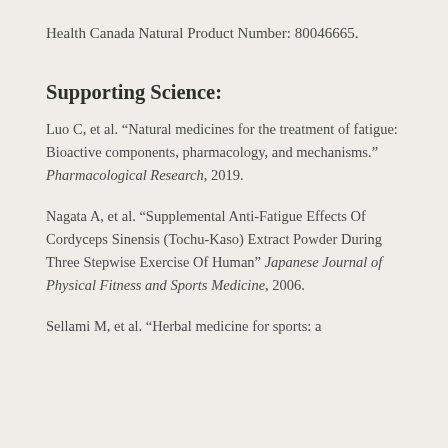Health Canada Natural Product Number: 80046665.
Supporting Science:
Luo C, et al. “Natural medicines for the treatment of fatigue: Bioactive components, pharmacology, and mechanisms.” Pharmacological Research, 2019.
Nagata A, et al. “Supplemental Anti-Fatigue Effects Of Cordyceps Sinensis (Tochu-Kaso) Extract Powder During Three Stepwise Exercise Of Human” Japanese Journal of Physical Fitness and Sports Medicine, 2006.
Sellami M, et al. “Herbal medicine for sports: a